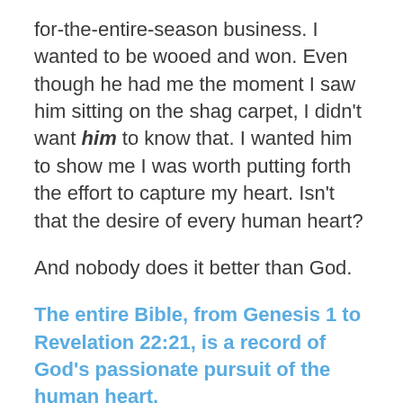for-the-entire-season business. I wanted to be wooed and won. Even though he had me the moment I saw him sitting on the shag carpet, I didn't want him to know that. I wanted him to show me I was worth putting forth the effort to capture my heart. Isn't that the desire of every human heart?
And nobody does it better than God.
The entire Bible, from Genesis 1 to Revelation 22:21, is a record of God's passionate pursuit of the human heart.
We and the last chapter of the Old